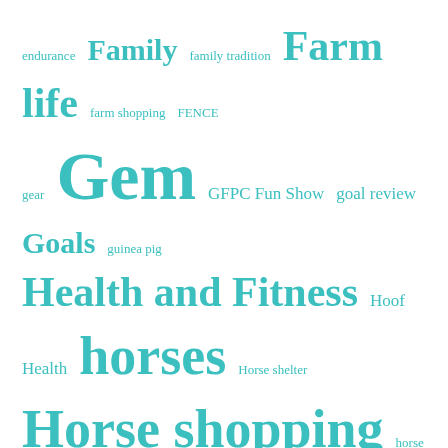[Figure (other): Tag cloud / word cloud with equestrian and lifestyle blog topics in teal/cyan color at various font sizes indicating frequency]